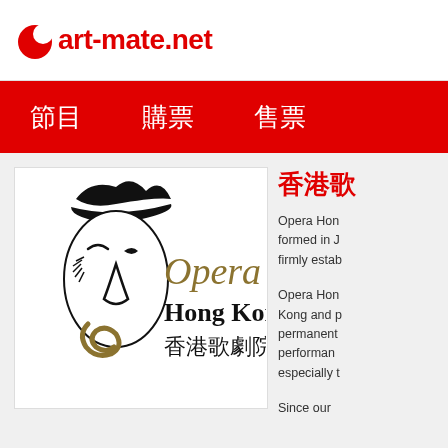art-mate.net
節目  購票  售票
[Figure (logo): Opera Hong Kong logo — stylized face in black and gold with the text 'Opera Hong Kong 香港歌劇院']
香港歌
Opera Hong Kong was formed in ... firmly established
Opera Hong... Kong and permanently... performances... especially t
Since our...